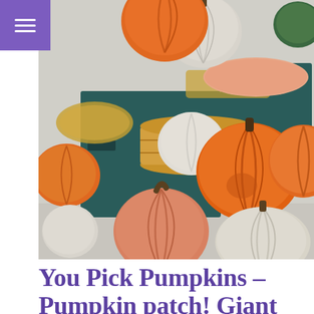[Figure (photo): A display of various pumpkins and gourds of different colors (orange, white, pale pink/peach) and sizes arranged on and around dark teal wooden crates with hay/straw, photographed at what appears to be a farm stand or pumpkin patch.]
You Pick Pumpkins – Pumpkin patch! Giant